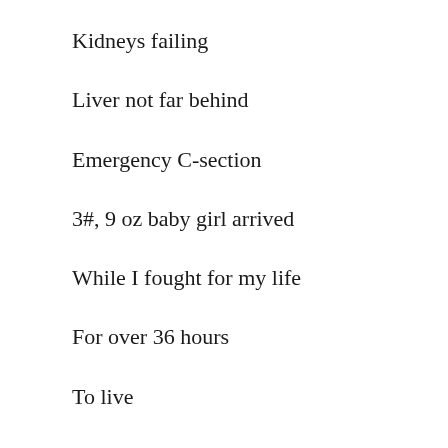Kidneys failing
Liver not far behind
Emergency C-section
3#, 9 oz baby girl arrived
While I fought for my life
For over 36 hours
To live
To meet my daughter